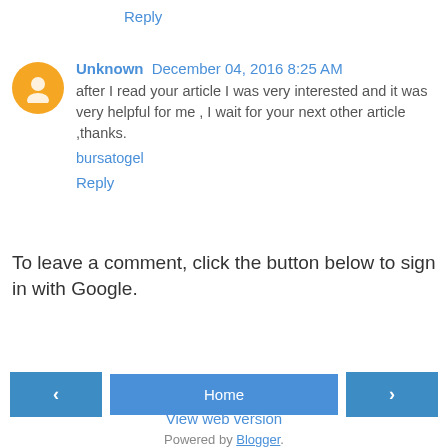Reply
Unknown  December 04, 2016 8:25 AM
after I read your article I was very interested and it was very helpful for me , I wait for your next other article ,thanks.
bursatogel
Reply
To leave a comment, click the button below to sign in with Google.
SIGN IN WITH GOOGLE
< Home >
View web version
Powered by Blogger.